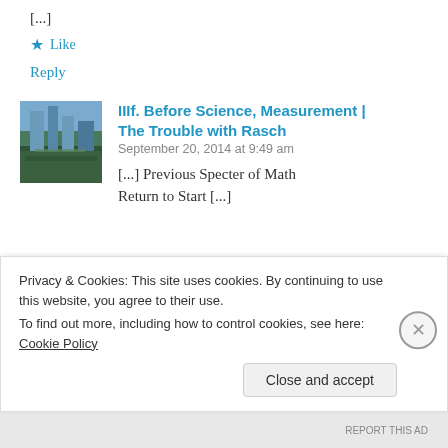[...]
★ Like
Reply
[Figure (photo): Thumbnail photo of a city skyline with trees and paths in the foreground]
IIIf. Before Science, Measurement | The Trouble with Rasch
September 20, 2014 at 9:49 am
[...] Previous Specter of Math                    Return to Start [...]
Privacy & Cookies: This site uses cookies. By continuing to use this website, you agree to their use.
To find out more, including how to control cookies, see here: Cookie Policy
Close and accept